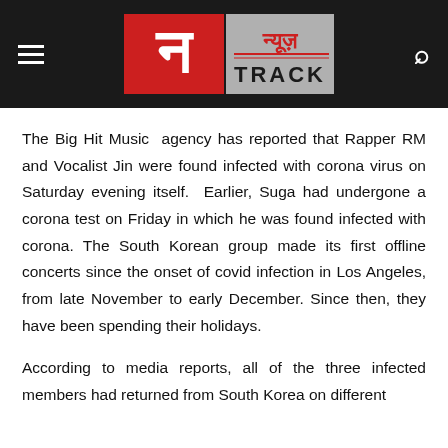News Track (न्यूज़ TRACK)
The Big Hit Music agency has reported that Rapper RM and Vocalist Jin were found infected with corona virus on Saturday evening itself. Earlier, Suga had undergone a corona test on Friday in which he was found infected with corona. The South Korean group made its first offline concerts since the onset of covid infection in Los Angeles, from late November to early December. Since then, they have been spending their holidays.
According to media reports, all of the three infected members had returned from South Korea on different